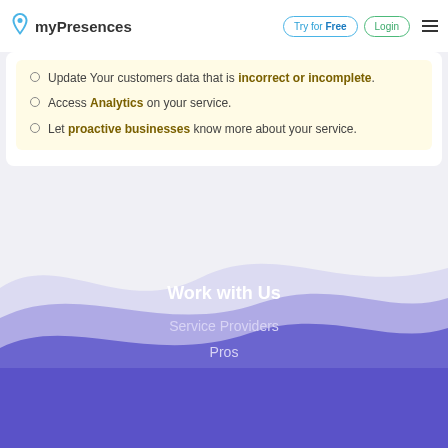myPresences | Try for Free | Login
Update Your customers data that is incorrect or incomplete.
Access Analytics on your service.
Let proactive businesses know more about your service.
[Figure (illustration): Wave divider with layered purple/lavender waves transitioning into purple footer background]
Work with Us
Service Providers
Pros